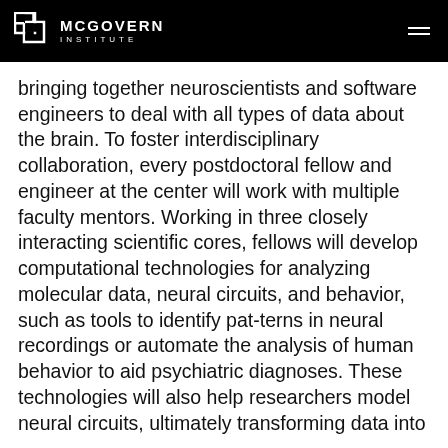McGovern Institute
bringing together neuroscientists and software engineers to deal with all types of data about the brain. To foster interdisciplinary collaboration, every postdoctoral fellow and engineer at the center will work with multiple faculty mentors. Working in three closely interacting scientific cores, fellows will develop computational technologies for analyzing molecular data, neural circuits, and behavior, such as tools to identify pat-terns in neural recordings or automate the analysis of human behavior to aid psychiatric diagnoses. These technologies will also help researchers model neural circuits, ultimately transforming data into